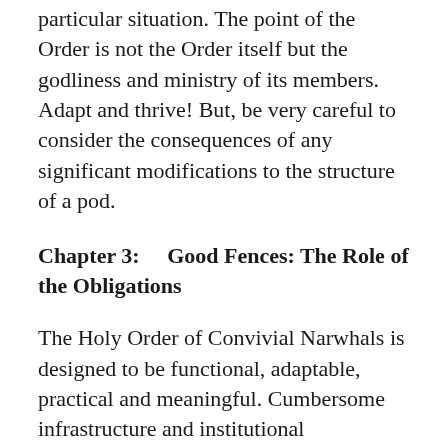particular situation. The point of the Order is not the Order itself but the godliness and ministry of its members. Adapt and thrive! But, be very careful to consider the consequences of any significant modifications to the structure of a pod.
Chapter 3:    Good Fences: The Role of the Obligations
The Holy Order of Convivial Narwhals is designed to be functional, adaptable, practical and meaningful. Cumbersome infrastructure and institutional connectivity might be helpful in the “meaningful” category, but they would be a big handicap in the other areas. Simplicity and local autonomy score high marks in the